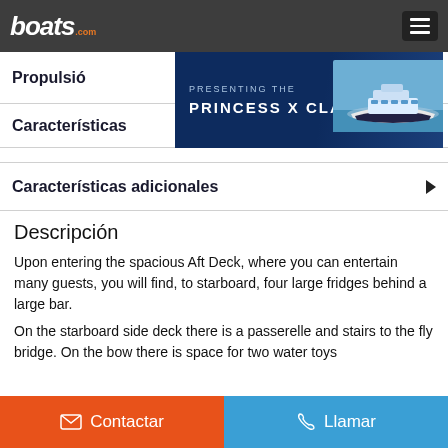boats.com
Propulsión
[Figure (illustration): Princess X Class boat advertisement banner]
Características
Características adicionales
Descripción
Upon entering the spacious Aft Deck, where you can entertain many guests, you will find, to starboard, four large fridges behind a large bar.
On the starboard side deck there is a passerelle and stairs to the fly bridge. On the bow there is space for two water toys
Contactar  Llamar